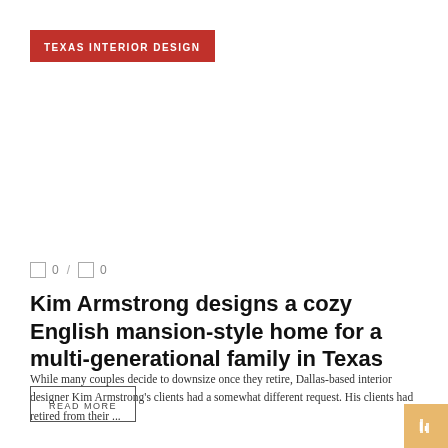TEXAS INTERIOR DESIGN
0 / 0
Kim Armstrong designs a cozy English mansion-style home for a multi-generational family in Texas
While many couples decide to downsize once they retire, Dallas-based interior designer Kim Armstrong's clients had a somewhat different request. His clients had retired from their ...
READ MORE